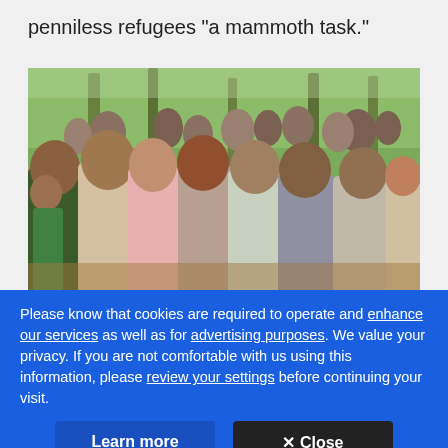penniless refugees "a mammoth task."
[Figure (photo): A large crowd of people, appearing to be refugees, standing outdoors in a wooded area. Many men and boys are visible in the foreground, with more people visible in the background among trees.]
Please know that cookies are required to operate and enhance our services as well as for advertising purposes. We value your privacy. If you are not comfortable with us using this information, please review your settings before continuing your visit.
Learn more
✕ Close